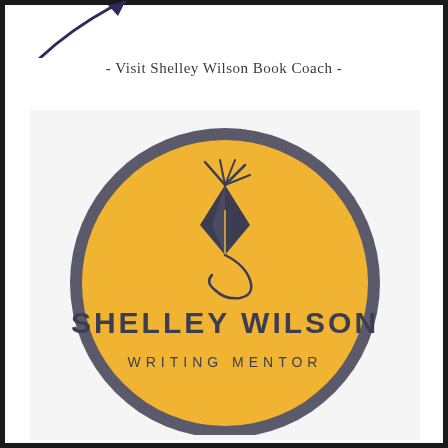[Figure (illustration): Partial decorative pen/quill stroke logo at very top of page, dark navy/purple color, partially cropped]
- Visit Shelley Wilson Book Coach -
[Figure (logo): Shelley Wilson Writing Mentor logo: a large yellow/golden circle with a dark grey border, featuring a fountain pen nib icon with decorative flourish above the text 'SHELLEY WILSON' in bold dark sans-serif letters and 'WRITING MENTOR' in smaller spaced dark sans-serif letters below]